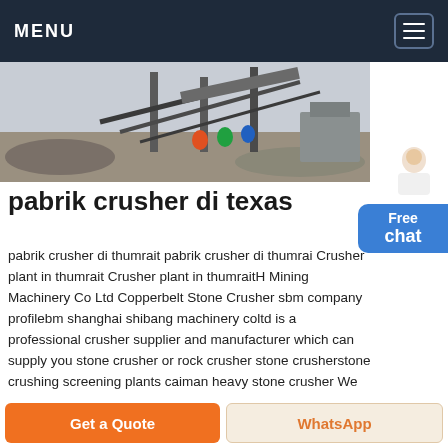MENU
[Figure (photo): Construction site with industrial crusher machinery, conveyor belts, and workers in safety gear]
pabrik crusher di texas
pabrik crusher di thumrait pabrik crusher di thumrait Crusher plant in thumrait Crusher plant in thumraitH Mining Machinery Co Ltd Copperbelt Stone Crusher sbm company profilebm shanghai shibang machinery coltd is a professional crusher supplier and manufacturer which can supply you stone crusher or rock crusher stone crusherstone crushing screening plants caiman heavy stone crusher We
Chat Online
Get a Quote
WhatsApp